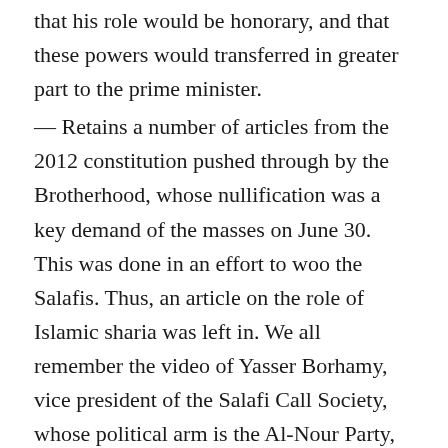that his role would be honorary, and that these powers would transferred in greater part to the prime minister.
— Retains a number of articles from the 2012 constitution pushed through by the Brotherhood, whose nullification was a key demand of the masses on June 30. This was done in an effort to woo the Salafis. Thus, an article on the role of Islamic sharia was left in. We all remember the video of Yasser Borhamy, vice president of the Salafi Call Society, whose political arm is the Al-Nour Party, boasting about passing this article in spite of the civil opposition.
— Ignores economic and social rights, such as